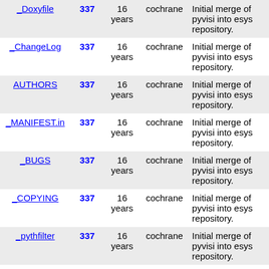| File | Rev | Age | Author | Last log entry |
| --- | --- | --- | --- | --- |
| Doxyfile | 337 | 16 years | cochrane | Initial merge of pyvisi into esys repository. |
| ChangeLog | 337 | 16 years | cochrane | Initial merge of pyvisi into esys repository. |
| AUTHORS | 337 | 16 years | cochrane | Initial merge of pyvisi into esys repository. |
| MANIFEST.in | 337 | 16 years | cochrane | Initial merge of pyvisi into esys repository. |
| BUGS | 337 | 16 years | cochrane | Initial merge of pyvisi into esys repository. |
| COPYING | 337 | 16 years | cochrane | Initial merge of pyvisi into esys repository. |
| _pythfilter | 337 | 16 years | cochrane | Initial merge of pyvisi into esys repository. |
| README | 337 | 16 years | cochrane | Initial merge of pyvisi into esys repository. |